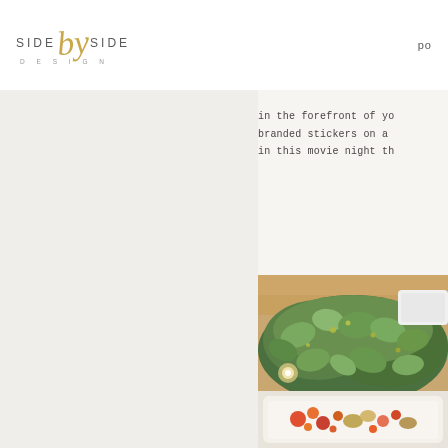Side by Side Design logo | po
in the forefront of yo branded stickers on a in this movie night th
[Figure (photo): Close-up photo of eucalyptus greenery branches with small round leaves arranged on a table, with a candle visible and warm ambient lighting]
[Figure (photo): Bottom portion showing a white bowl or dish with colorful food items]